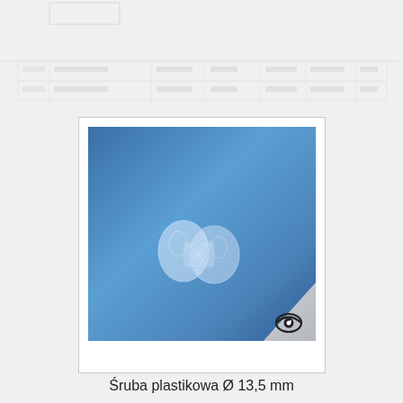[Figure (photo): Faded/watermarked catalog grid rows at top of page showing partially visible table rows with product data]
[Figure (photo): Clear transparent plastic screw / bolt with diameter 13.5 mm shown against blue gradient background, with grey triangle corner containing an eye icon in bottom right]
Śruba plastikowa Ø 13,5 mm